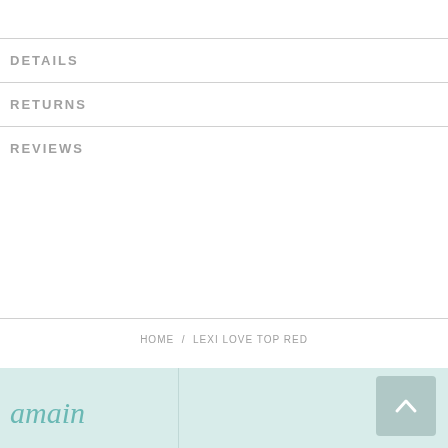DETAILS
RETURNS
REVIEWS
HOME / LEXI LOVE TOP RED